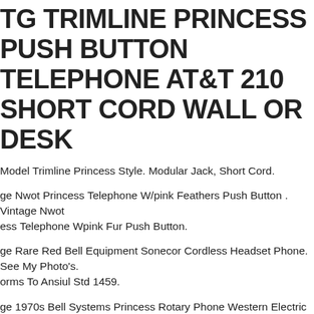TG TRIMLINE PRINCESS PUSH BUTTON TELEPHONE AT&T 210 SHORT CORD WALL OR DESK
Model Trimline Princess Style. Modular Jack, Short Cord.
ge Nwot Princess Telephone W/pink Feathers Push Button . Vintage Nwot ess Telephone Wpink Fur Push Button.
ge Rare Red Bell Equipment Sonecor Cordless Headset Phone. See My Photo's. orms To Ansiul Std 1459.
ge 1970s Bell Systems Princess Rotary Phone Western Electric 702bm Rare 🌺 . n ,smoke Free,works! Tested Almost Excellent Condition!
ge Princess Phone Rotary Pink Salmon Western Electric Needs Restoration. ge Princess Phone Rotary Pink Salmon Western Electric Needs Restoration. ition Is "used". Shipped With Usps Priority Mail. The Cord Is Wrapped Around The To Keep It From Tangling
VINTAGE WESTERN ELECTRIC BELL SYSTEM JADE GREEN ROTARY DIAL THE PRINCESS PHONE